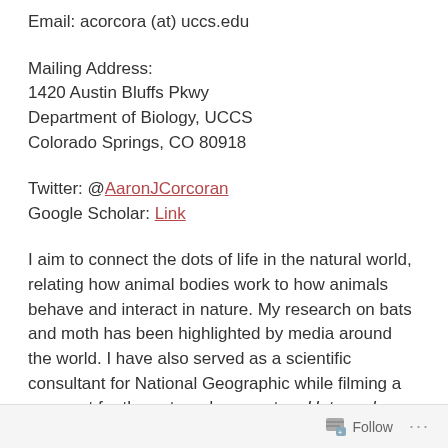Email: acorcora (at) uccs.edu
Mailing Address:
1420 Austin Bluffs Pkwy
Department of Biology, UCCS
Colorado Springs, CO 80918
Twitter: @AaronJCorcoran
Google Scholar: Link
I aim to connect the dots of life in the natural world, relating how animal bodies work to how animals behave and interact in nature. My research on bats and moth has been highlighted by media around the world. I have also served as a scientific consultant for National Geographic while filming a segment for the nature documentary Untamed Americas and am a National Geographic Explorer.
Follow ...